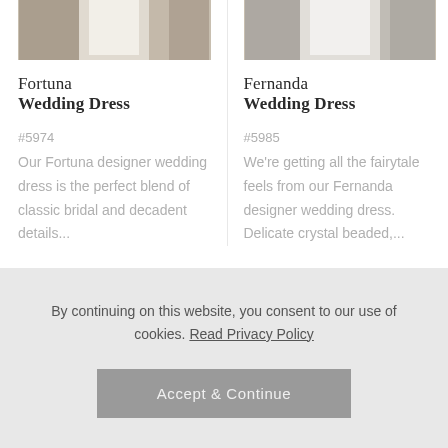[Figure (photo): Cropped top of a wedding dress product photo, Fortuna, showing white/ivory dress fabric against outdoor background]
[Figure (photo): Cropped top of a wedding dress product photo, Fernanda, showing white dress fabric against stone/cobblestone background]
Fortuna Wedding Dress
Fernanda Wedding Dress
#5974
#5985
Our Fortuna designer wedding dress is the perfect blend of classic bridal and decadent details...
We're getting all the fairytale feels from our Fernanda designer wedding dress. Delicate crystal beaded,...
By continuing on this website, you consent to our use of cookies. Read Privacy Policy
Accept & Continue